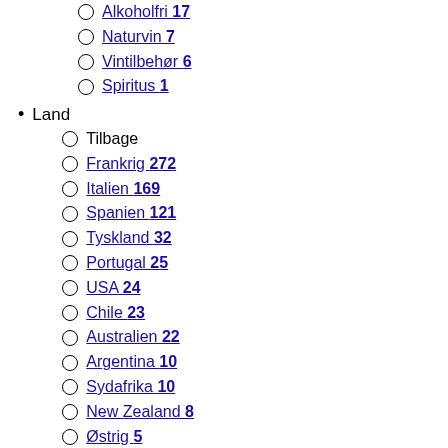Alkoholfri 17
Naturvin 7
Vintilbehør 6
Spiritus 1
Land
Tilbage
Frankrig 272
Italien 169
Spanien 121
Tyskland 32
Portugal 25
USA 24
Chile 23
Australien 22
Argentina 10
Sydafrika 10
New Zealand 8
Østrig 5
Region
Tilbage
Veneto 59
Bourgogne 52
Bordeaux 51
Rhônedalen 39